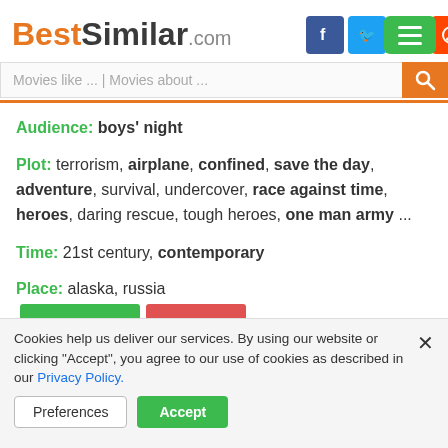BestSimilar.com
Audience: boys' night
Plot: terrorism, airplane, confined, save the day, adventure, survival, undercover, race against time, heroes, daring rescue, tough heroes, one man army ...
Time: 21st century, contemporary
Place: alaska, russia
[Figure (other): Dark rounded button with play arrows and MOVIE text]
⇓ similarity ⇓
Cookies help us deliver our services. By using our website or clicking "Accept", you agree to our use of cookies as described in our Privacy Policy.